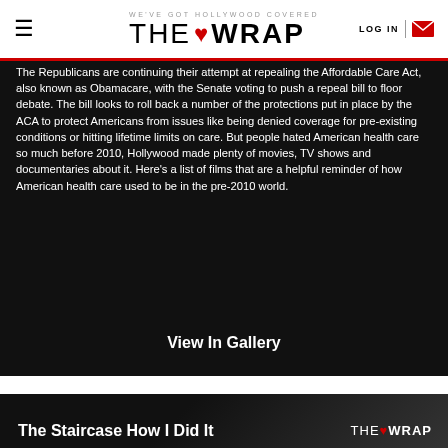WE'VE GOT HOLLYWOOD COVERED | THE WRAP | LOG IN
The Republicans are continuing their attempt at repealing the Affordable Care Act, also known as Obamacare, with the Senate voting to push a repeal bill to floor debate. The bill looks to roll back a number of the protections put in place by the ACA to protect Americans from issues like being denied coverage for pre-existing conditions or hitting lifetime limits on care. But people hated American health care so much before 2010, Hollywood made plenty of movies, TV shows and documentaries about it. Here's a list of films that are a helpful reminder of how American health care used to be in the pre-2010 world.
View In Gallery
The Staircase How I Did It